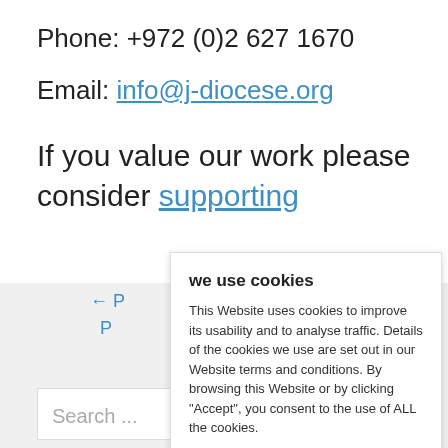Phone: +972 (0)2 627 1670
Email: info@j-diocese.org
If you value our work please consider supporting
← P
P
Search ...
we use cookies
This Website uses cookies to improve its usability and to analyse traffic. Details of the cookies we use are set out in our Website terms and conditions. By browsing this Website or by clicking "Accept", you consent to the use of ALL the cookies.
READ MORE
ACCEPT